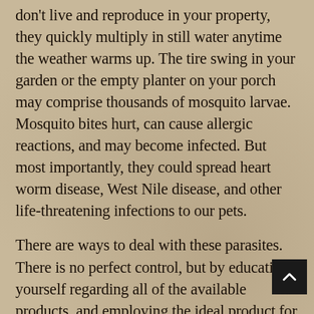don't live and reproduce in your property, they quickly multiply in still water anytime the weather warms up. The tire swing in your garden or the empty planter on your porch may comprise thousands of mosquito larvae. Mosquito bites hurt, can cause allergic reactions, and may become infected. But most importantly, they could spread heart worm disease, West Nile disease, and other life-threatening infections to our pets.
There are ways to deal with these parasites. There is no perfect control, but by educating yourself regarding all of the available products, and employing the ideal product for your particular situation, you can cut the chances that your pet will be infested with fleas or become a meal for ticks. When choosing an insect-control product, it's crucial to analyze the period of the flea, tick, and mosquito season in your area, the severity of the